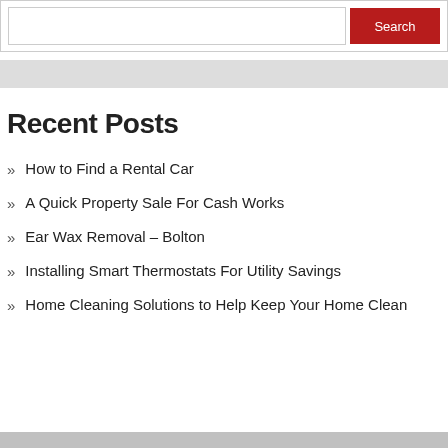Recent Posts
How to Find a Rental Car
A Quick Property Sale For Cash Works
Ear Wax Removal – Bolton
Installing Smart Thermostats For Utility Savings
Home Cleaning Solutions to Help Keep Your Home Clean